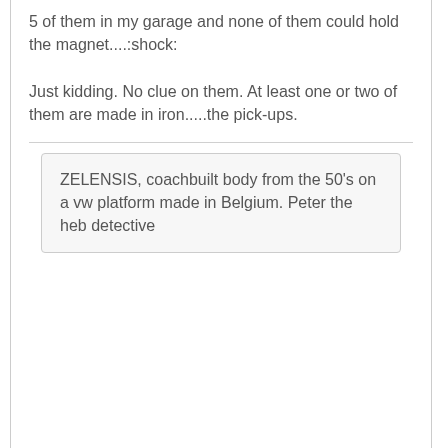5 of them in my garage and none of them could hold the magnet....:shock:
Just kidding. No clue on them. At least one or two of them are made in iron.....the pick-ups.
ZELENSIS, coachbuilt body from the 50's on a vw platform made in Belgium. Peter the heb detective
pbaptist
pre67vw Junkie  Topic Starter
12 years ago  #11
Here some more prove that a D&S is made of metal.